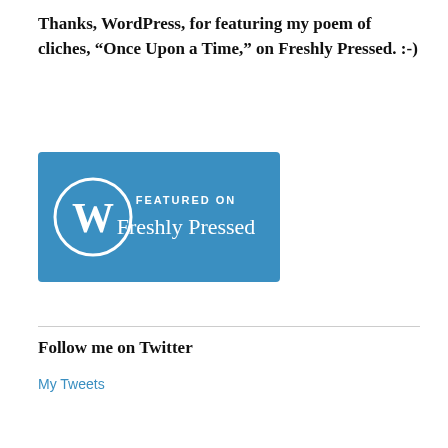Thanks, WordPress, for featuring my poem of cliches, “Once Upon a Time,” on Freshly Pressed. :-)
[Figure (logo): WordPress 'Featured on Freshly Pressed' badge — blue rectangular badge with W logo circle on left and text 'FEATURED ON Freshly Pressed' on right]
Follow me on Twitter
My Tweets
My new Facebook author page
My Latest Math Workbook: Fractions Essentials